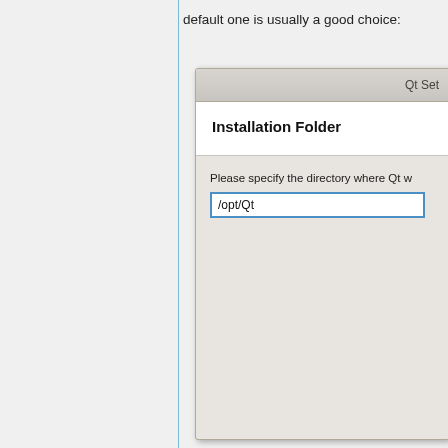default one is usually a good choice:
[Figure (screenshot): Qt Installer dialog showing 'Installation Folder' step with a text input field containing '/opt/Qt']